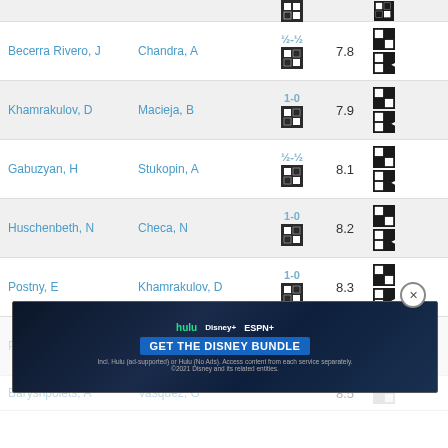| Player 1 | Player 2 | Result | Score | Actions |
| --- | --- | --- | --- | --- |
| Becerra Rivero, J | Chandra, A | ½-½ | 7.8 |  |
| Khamrakulov, D | Macieja, B | 1-0 | 7.9 |  |
| Gabuzyan, H | Stukopin, A | ½-½ | 8.1 |  |
| Huschenbeth, N | Checa, N | 1-0 | 8.2 |  |
| Postny, E | Khamrakulov, D | 1-0 | 8.3 |  |
| Peresipkin, E | Sauter, S | 1-0/½ | 8.4 |  |
| Baryshpolets, A | Vasquez, G |  | 8.5 |  |
[Figure (screenshot): Advertisement banner for Disney Bundle featuring Hulu, Disney+, and ESPN+ logos with 'GET THE DISNEY BUNDLE' call to action]